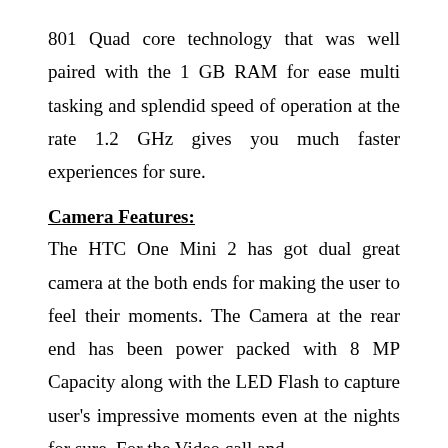801 Quad core technology that was well paired with the 1 GB RAM for ease multi tasking and splendid speed of operation at the rate 1.2 GHz gives you much faster experiences for sure.
Camera Features:
The HTC One Mini 2 has got dual great camera at the both ends for making the user to feel their moments. The Camera at the rear end has been power packed with 8 MP Capacity along with the LED Flash to capture user's impressive moments even at the nights for sure. For the Video call and